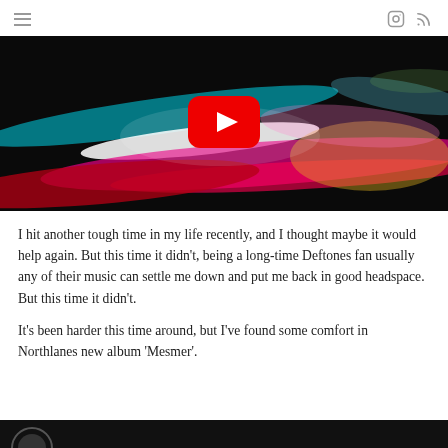≡  [instagram icon] [rss icon]
[Figure (screenshot): YouTube video thumbnail showing abstract colorful light streaks (cyan, magenta, pink, red, white) on a dark background, with a red YouTube play button overlaid in the center.]
I hit another tough time in my life recently, and I thought maybe it would help again. But this time it didn't, being a long-time Deftones fan usually any of their music can settle me down and put me back in good headspace. But this time it didn't.
It's been harder this time around, but I've found some comfort in Northlanes new album 'Mesmer'.
[Figure (screenshot): Partial view of another YouTube video thumbnail at the bottom of the page, showing a dark background with a partially visible circular logo or image.]